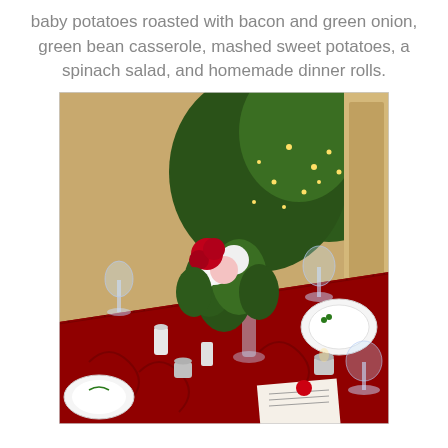baby potatoes roasted with bacon and green onion, green bean casserole, mashed sweet potatoes, a spinach salad, and homemade dinner rolls.
[Figure (photo): A holiday dinner table set with red tablecloth, floral centerpiece of red and white roses with greenery, crystal wine glasses, holiday china plates, candles, salt and pepper shakers, and a decorated Christmas tree with lights in the background.]